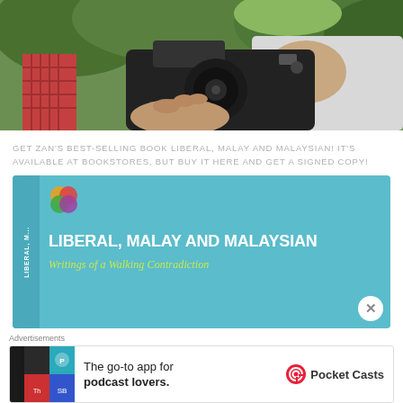[Figure (photo): Photo of hands holding/adjusting a large camera or video equipment, outdoors with greenery in background]
GET ZAN'S BEST-SELLING BOOK LIBERAL, MALAY AND MALAYSIAN! IT'S AVAILABLE AT BOOKSTORES, BUT BUY IT HERE AND GET A SIGNED COPY!
[Figure (illustration): Book promotional banner with cyan/teal background. Shows book cover for 'Liberal, Malay and Malaysian: Writings of a Walking Contradiction' with colorful circles logo and spine text. Has a close button (X) in bottom right.]
Advertisements
[Figure (screenshot): Advertisement banner for Pocket Casts app — 'The go-to app for podcast lovers.' with Pocket Casts logo on right and colorful app icon tiles on left.]